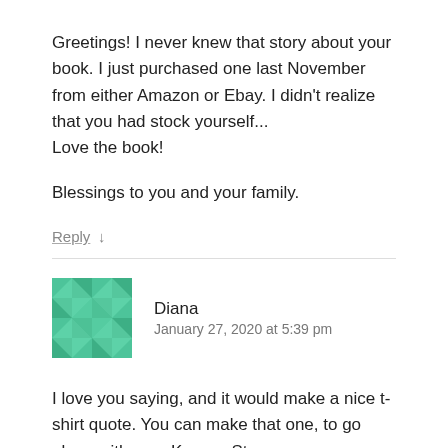Greetings! I never knew that story about your book. I just purchased one last November from either Amazon or Ebay. I didn't realize that you had stock yourself...
Love the book!

Blessings to you and your family.
Reply ↓
[Figure (illustration): Green geometric mosaic avatar icon for commenter Diana]
Diana
January 27, 2020 at 5:39 pm
I love you saying, and it would make a nice t-shirt quote. You can make that one, to go along with your Kramer Strong one.